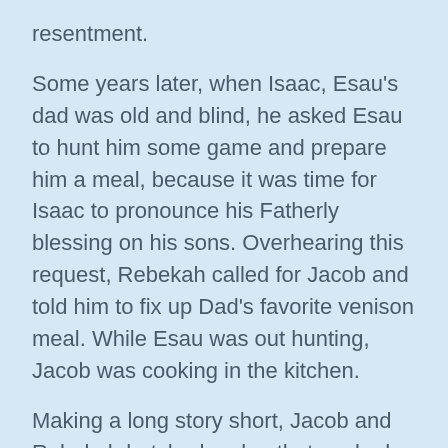resentment.
Some years later, when Isaac, Esau's dad was old and blind, he asked Esau to hunt him some game and prepare him a meal, because it was time for Isaac to pronounce his Fatherly blessing on his sons. Overhearing this request, Rebekah called for Jacob and told him to fix up Dad's favorite venison meal. While Esau was out hunting, Jacob was cooking in the kitchen.
Making a long story short, Jacob and Rebekah hatched a plan that worked and one in which the Father's firstborn blessing would be pronounced upon, you guessed it – Jacob!
When Esau returned, Rebekah had...